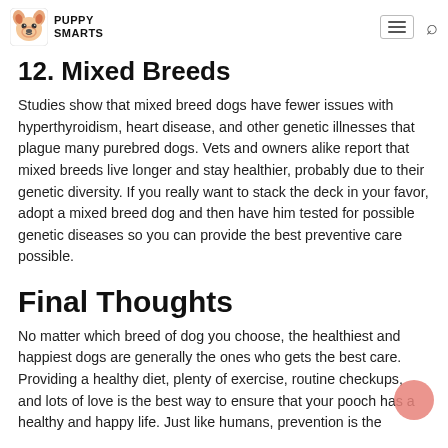PUPPY SMARTS
12.  Mixed Breeds
Studies show that mixed breed dogs have fewer issues with hyperthyroidism, heart disease, and other genetic illnesses that plague many purebred dogs. Vets and owners alike report that mixed breeds live longer and stay healthier, probably due to their genetic diversity. If you really want to stack the deck in your favor, adopt a mixed breed dog and then have him tested for possible genetic diseases so you can provide the best preventive care possible.
Final Thoughts
No matter which breed of dog you choose, the healthiest and happiest dogs are generally the ones who gets the best care. Providing a healthy diet, plenty of exercise, routine checkups, and lots of love is the best way to ensure that your pooch has a healthy and happy life.  Just like humans, prevention is the